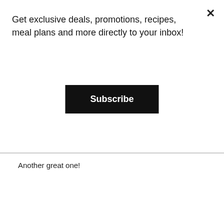Get exclusive deals, promotions, recipes, meal plans and more directly to your inbox!
Subscribe
Another great one!